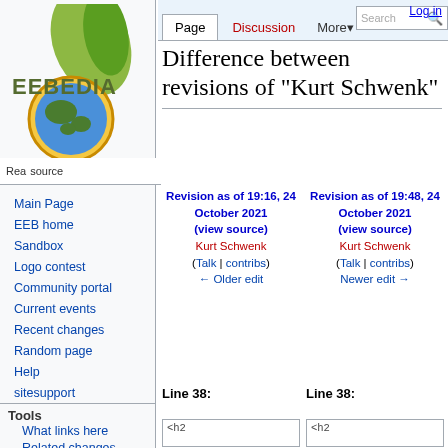Log in
[Figure (logo): EEBEDIA wiki logo with green leaf and globe]
Main Page
EEB home
Sandbox
Logo contest
Community portal
Current events
Recent changes
Random page
Help
sitesupport
Tools
What links here
Related changes
Difference between revisions of "Kurt Schwenk"
Revision as of 19:16, 24 October 2021 (view source) Kurt Schwenk (Talk | contribs) ← Older edit
Revision as of 19:48, 24 October 2021 (view source) Kurt Schwenk (Talk | contribs) Newer edit →
Line 38:
Line 38: